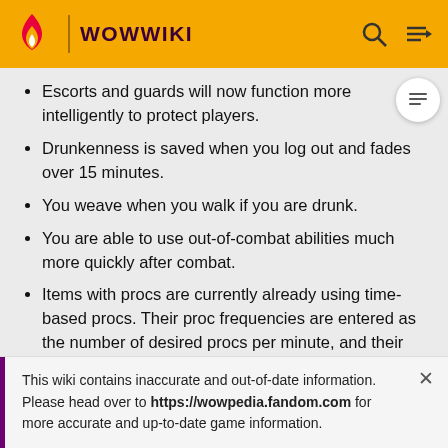WOWWIKI
Escorts and guards will now function more intelligently to protect players.
Drunkenness is saved when you log out and fades over 15 minutes.
You weave when you walk if you are drunk.
You are able to use out-of-combat abilities much more quickly after combat.
Items with procs are currently already using time-based procs. Their proc frequencies are entered as the number of desired procs per minute, and their actual per-swing proc chances are calculated from
This wiki contains inaccurate and out-of-date information. Please head over to https://wowpedia.fandom.com for more accurate and up-to-date game information.